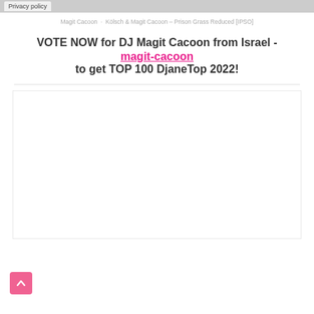Privacy policy
Magit Cacoon · Kölsch & Magit Cacoon – Prison Grass Reduced [IPSO]
VOTE NOW for DJ Magit Cacoon from Israel - magit-cacoon to get TOP 100 DjaneTop 2022!
[Figure (other): White bordered box content area]